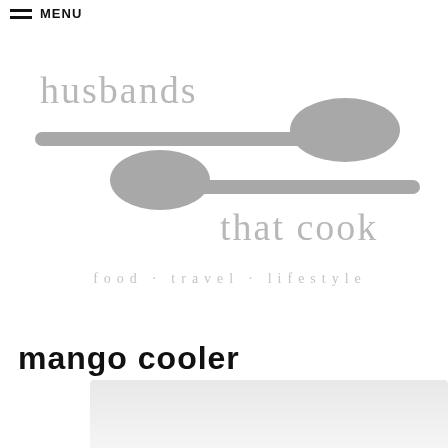MENU
[Figure (logo): Husbands That Cook logo with two grey spoons and tagline 'food · travel · lifestyle']
mango cooler
[Figure (photo): Partial grey/white image at the bottom of the page]